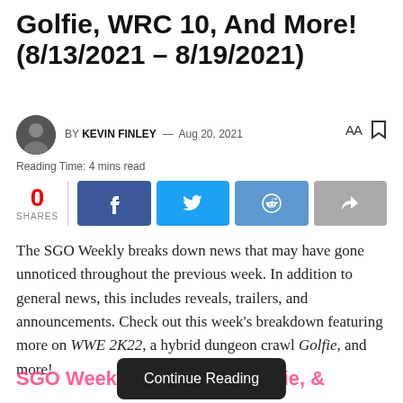Golfie, WRC 10, And More! (8/13/2021 – 8/19/2021)
BY KEVIN FINLEY — Aug 20, 2021
Reading Time: 4 mins read
0 SHARES
The SGO Weekly breaks down news that may have gone unnoticed throughout the previous week. In addition to general news, this includes reveals, trailers, and announcements. Check out this week's breakdown featuring more on WWE 2K22, a hybrid dungeon crawl Golfie, and more!
SGO Week  Golfie, &
Continue Reading